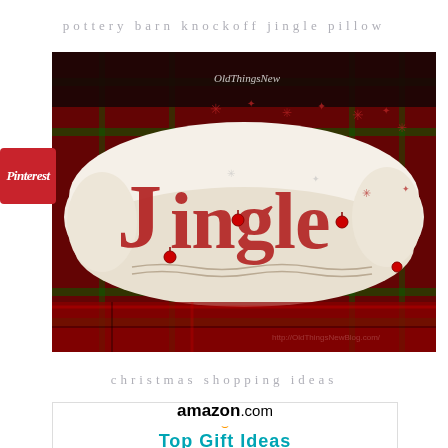pottery barn knockoff jingle pillow
[Figure (photo): A decorative lumpy white pillow with the word 'Jingle' printed in red gothic lettering with snowflake designs, placed on red and green plaid fabric. Small red jingle bells are attached. Watermark reads 'OldThingsNew' and 'http://OldThingsNewBlog.com/']
christmas shopping ideas
[Figure (logo): Amazon.com logo with orange arrow, followed by 'Top Gift Ideas' text in teal/cyan color]